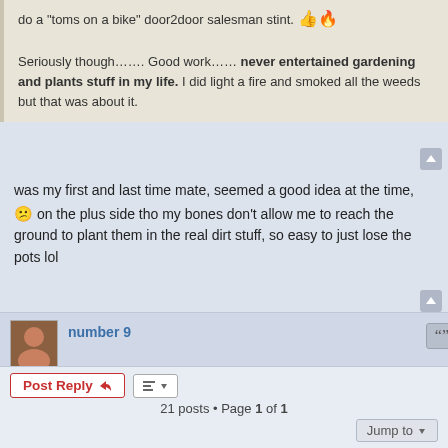do a "toms on a bike" door2door salesman stint. 👍🔥
Seriously though……. Good work…… never entertained gardening and plants stuff in my life. I did light a fire and smoked all the weeds but that was about it.
was my first and last time mate, seemed a good idea at the time, 😕 on the plus side tho my bones don't allow me to reach the ground to plant them in the real dirt stuff, so easy to just lose the pots lol
number 9
Re: On yer BIKES, Bikes
Mon Jun 20, 2022 11:26 pm
Wolfie…got a pickle up your arse? 😄
21 posts • Page 1 of 1